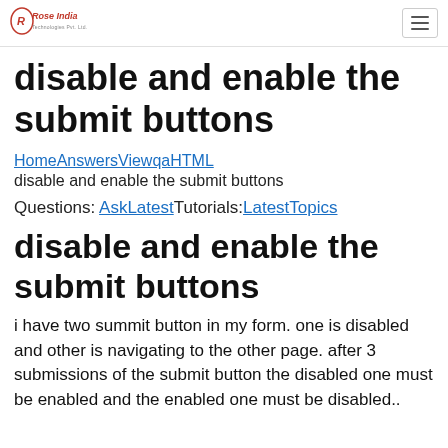Rose India [logo] [hamburger menu]
disable and enable the submit buttons
HomeAnswersViewqaHTML
disable and enable the submit buttons
Questions: AskLatestTutorials:LatestTopics
disable and enable the submit buttons
i have two summit button in my form. one is disabled and other is navigating to the other page. after 3 submissions of the submit button the disabled one must be enabled and the enabled one must be disabled..